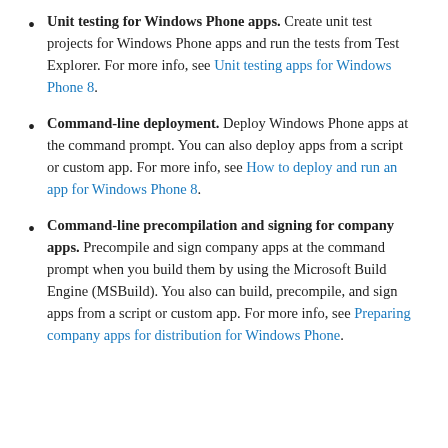Unit testing for Windows Phone apps. Create unit test projects for Windows Phone apps and run the tests from Test Explorer. For more info, see Unit testing apps for Windows Phone 8.
Command-line deployment. Deploy Windows Phone apps at the command prompt. You can also deploy apps from a script or custom app. For more info, see How to deploy and run an app for Windows Phone 8.
Command-line precompilation and signing for company apps. Precompile and sign company apps at the command prompt when you build them by using the Microsoft Build Engine (MSBuild). You also can build, precompile, and sign apps from a script or custom app. For more info, see Preparing company apps for distribution for Windows Phone.